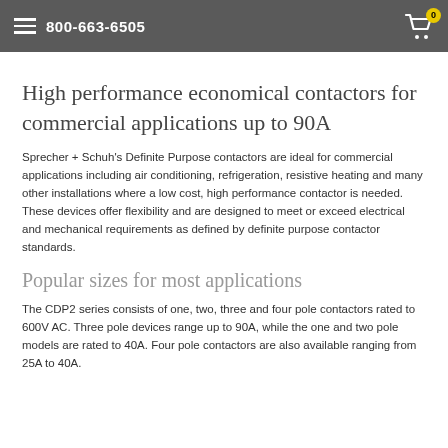800-663-6505
High performance economical contactors for commercial applications up to 90A
Sprecher + Schuh's Definite Purpose contactors are ideal for commercial applications including air conditioning, refrigeration, resistive heating and many other installations where a low cost, high performance contactor is needed. These devices offer flexibility and are designed to meet or exceed electrical and mechanical requirements as defined by definite purpose contactor standards.
Popular sizes for most applications
The CDP2 series consists of one, two, three and four pole contactors rated to 600V AC. Three pole devices range up to 90A, while the one and two pole models are rated to 40A. Four pole contactors are also available ranging from 25A to 40A.